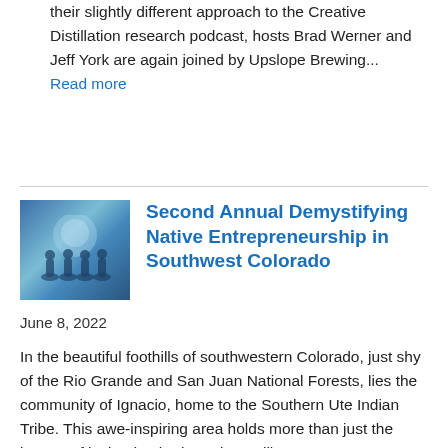their slightly different approach to the Creative Distillation research podcast, hosts Brad Werner and Jeff York are again joined by Upslope Brewing... Read more
[Figure (photo): Group photo of people at the Demystifying Native Entrepreneurship event in Southwest Colorado]
Second Annual Demystifying Native Entrepreneurship in Southwest Colorado
June 8, 2022
In the beautiful foothills of southwestern Colorado, just shy of the Rio Grande and San Juan National Forests, lies the community of Ignacio, home to the Southern Ute Indian Tribe. This awe-inspiring area holds more than just the beauty of its land. It harbors the resilience...